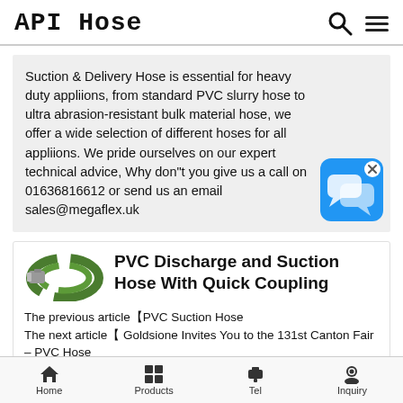API Hose
Suction & Delivery Hose is essential for heavy duty appliions, from standard PVC slurry hose to ultra abrasion-resistant bulk material hose, we offer a wide selection of different hoses for all appliions. We pride ourselves on our expert technical advice, Why don"t you give us a call on 01636816612 or send us an email sales@megaflex.uk
[Figure (screenshot): Blue chat/messaging app icon with speech bubbles, with a close (x) button in top right corner]
[Figure (photo): Green PVC discharge and suction hose coiled with metal coupling fitting]
PVC Discharge and Suction Hose With Quick Coupling
The previous article【PVC Suction Hose The next article【 Goldsione Invites You to the 131st Canton Fair – PVC Hose
Home  Products  Tel  Inquiry